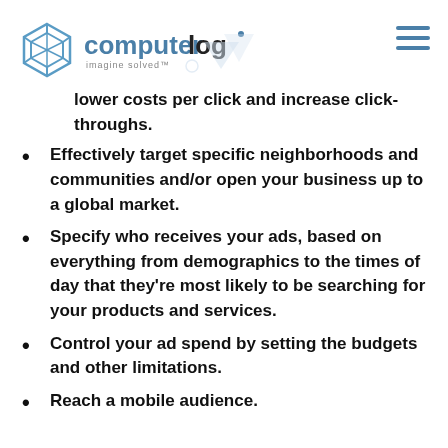computerlog
lower costs per click and increase click-throughs.
Effectively target specific neighborhoods and communities and/or open your business up to a global market.
Specify who receives your ads, based on everything from demographics to the times of day that they're most likely to be searching for your products and services.
Control your ad spend by setting the budgets and other limitations.
Reach a mobile audience.